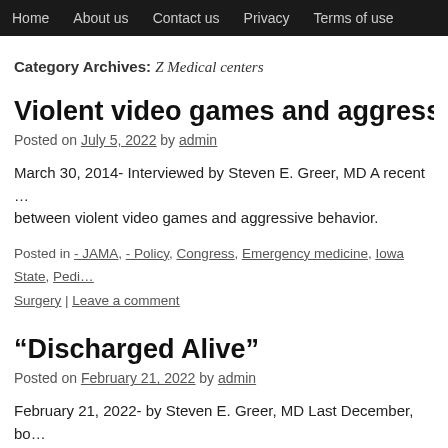Home  About us  Contact us  Privacy  Terms of use
Category Archives: Z Medical centers
Violent video games and aggressive beha…
Posted on July 5, 2022 by admin
March 30, 2014- Interviewed by Steven E. Greer, MD A recent … between violent video games and aggressive behavior.
Posted in - JAMA, - Policy, Congress, Emergency medicine, Iowa State, Pedi… Surgery | Leave a comment
“Discharged Alive”
Posted on February 21, 2022 by admin
February 21, 2022- by Steven E. Greer, MD Last December, bo… almost two-weeks at the Ohio State University
Posted in - Policy, Geriatrics, Infectious disease, Internal Medicine, Neurolo…